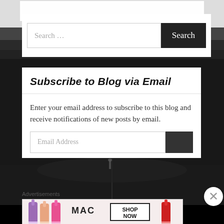[Figure (photo): Black and white photo of a baseball stadium/field in the background]
Search ...
Subscribe to Blog via Email
Enter your email address to subscribe to this blog and receive notifications of new posts by email.
Email Address
Advertisements
[Figure (screenshot): MAC cosmetics advertisement banner showing lipsticks and 'SHOP NOW' text]